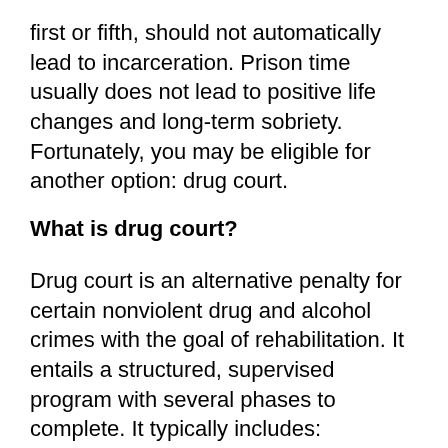first or fifth, should not automatically lead to incarceration. Prison time usually does not lead to positive life changes and long-term sobriety. Fortunately, you may be eligible for another option: drug court.
What is drug court?
Drug court is an alternative penalty for certain nonviolent drug and alcohol crimes with the goal of rehabilitation. It entails a structured, supervised program with several phases to complete. It typically includes:
Detox and random testing
Health care (treatment, diagnosis, medication)